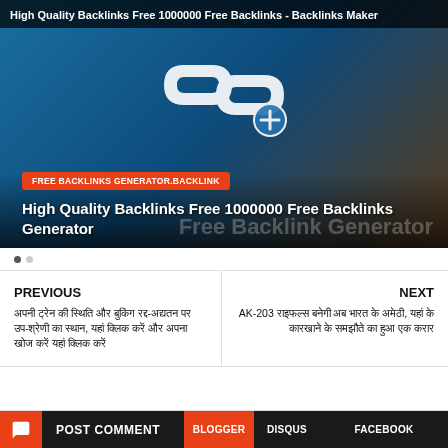[Figure (screenshot): Blog post thumbnail image with blue gradient background, chain link icon, orange-red badge reading FREE BACKLINKS GENERATOR.BACKLINK, and title overlay text 'High Quality Backlinks Free 1000000 Free Backlinks Generator'. Top bar shows 'High Quality Backlinks Free 1000000 Free Backlinks - Backlinks Maker'.]
PREVIOUS
अपनी ट्रेन की स्थिति और बुकिंग रद्द-अद्यतन पर उप-श्रेणी का स्थान, यहां क्लिक करें और अपना खोज करें यहां क्लिक करें
NEXT
AK-203 राइफल्स बनेगी अब भारत के अमेठी, यहां के कारखाने के समझौते का हुआ एक करार
POST COMMENT
BLOGGER
DISQUS
FACEBOOK